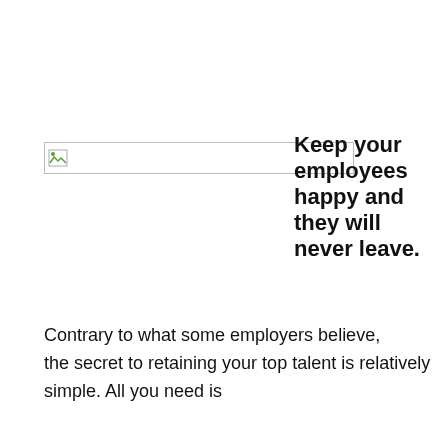[Figure (photo): Broken/missing image placeholder with small landscape icon on left side]
Keep your employees happy and they will never leave.
Contrary to what some employers believe, the secret to retaining your top talent is relatively simple. All you need is